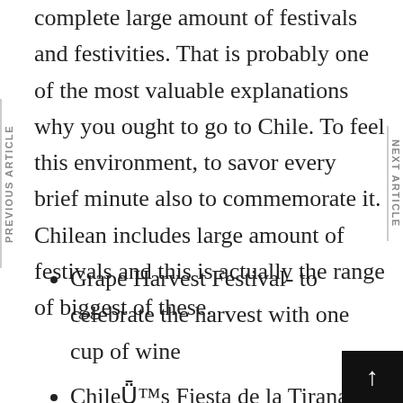complete large amount of festivals and festivities. That is probably one of the most valuable explanations why you ought to go to Chile. To feel this environment, to savor every brief minute also to commemorate it. Chilean includes large amount of festivals and this is actually the range of biggest of these.
PREVIOUS ARTICLE
NEXT ARTICLE
Grape Harvest Festival- to celebrate the harvest with one cup of wine
Chile's Fiesta de la Tirana- one thi in contact with horses and horsemen